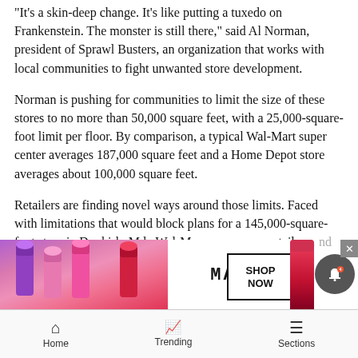“It’s a skin-deep change. It’s like putting a tuxedo on Frankenstein. The monster is still there,” said Al Norman, president of Sprawl Busters, an organization that works with local communities to fight unwanted store development.
Norman is pushing for communities to limit the size of these stores to no more than 50,000 square feet, with a 25,000-square-foot limit per floor. By comparison, a typical Wal-Mart super center averages 187,000 square feet and a Home Depot store averages about 100,000 square feet.
Retailers are finding novel ways around those limits. Faced with limitations that would block plans for a 145,000-square-foot store in Dunkirk, Md., Wal-M... propo... a retail s... nd
[Figure (advertisement): MAC cosmetics advertisement showing lipsticks and SHOP NOW button]
Home   Trending   Sections